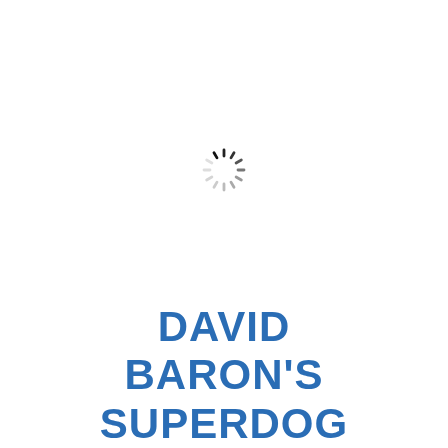[Figure (other): A loading spinner icon (circular dashed spinner) centered on the page]
DAVID BARON'S SUPERDOG